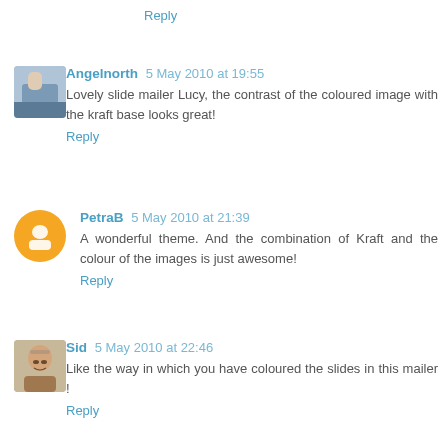Reply
Angelnorth 5 May 2010 at 19:55
Lovely slide mailer Lucy, the contrast of the coloured image with the kraft base looks great!
Reply
PetraB 5 May 2010 at 21:39
A wonderful theme. And the combination of Kraft and the colour of the images is just awesome!
Reply
Sid 5 May 2010 at 22:46
Like the way in which you have coloured the slides in this mailer !
Reply